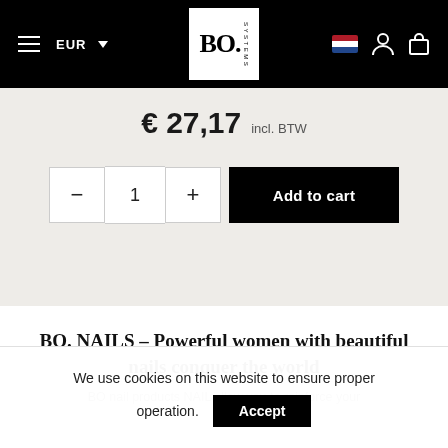EUR | BO. SYSTEMS logo | Flag | Person icon | Bag icon
€ 27,17 incl. BTW
- 1 + Add to cart
BO. NAILS – Powerful women with beautiful nails conquer the world
BO nail products NAIL allow you to reinforce your
We use cookies on this website to ensure proper operation. Accept